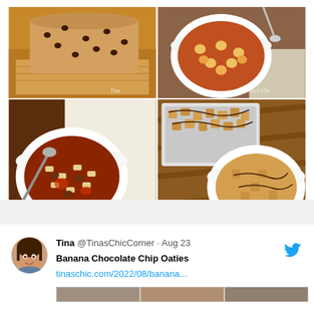[Figure (photo): 2x2 grid of food photos: top-left shows chocolate chip banana bread loaf on wooden board, top-right shows a bowl of pasta with chickpeas in tomato sauce, bottom-left shows a bowl of pasta e fagioli soup with a spoon, bottom-right shows a bowl of chocolate drizzled cereal/granola squares on a wooden board. All photos watermarked with Tina's Chic Corner.]
[Figure (screenshot): Twitter/X post by Tina @TinasChicCorner dated Aug 23, with text 'Banana Chocolate Chip Oaties' and link tinaschic.com/2022/08/banana... with Twitter bird icon in blue. Profile avatar shows a woman with dark hair smiling.]